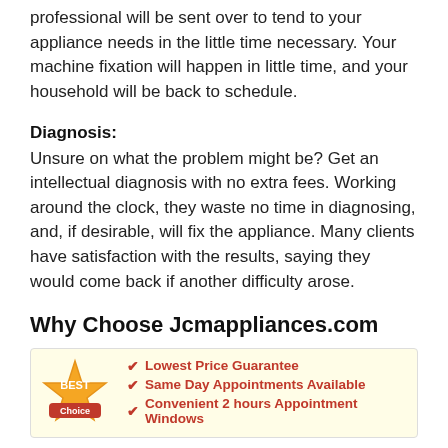professional will be sent over to tend to your appliance needs in the little time necessary. Your machine fixation will happen in little time, and your household will be back to schedule.
Diagnosis:
Unsure on what the problem might be? Get an intellectual diagnosis with no extra fees. Working around the clock, they waste no time in diagnosing, and, if desirable, will fix the appliance. Many clients have satisfaction with the results, saying they would come back if another difficulty arose.
Why Choose Jcmappliances.com
[Figure (infographic): Best Choice badge with gold/red seal on left, and a list of three checkmark items: Lowest Price Guarantee, Same Day Appointments Available, Convenient 2 hours Appointment Windows]
Lowest Price Guarantee
Same Day Appointments Available
Convenient 2 hours Appointment Windows